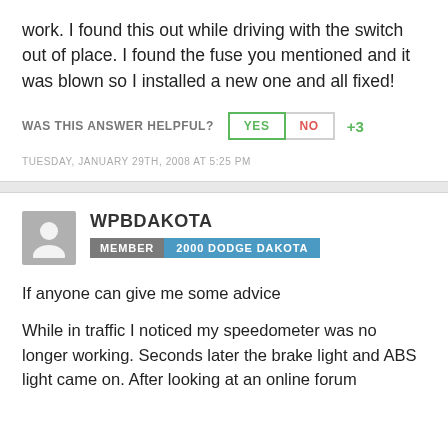work. I found this out while driving with the switch out of place. I found the fuse you mentioned and it was blown so I installed a new one and all fixed!
WAS THIS ANSWER HELPFUL? YES NO +3
TUESDAY, JANUARY 29TH, 2008 AT 5:25 PM
WPBDAKOTA
MEMBER | 2000 DODGE DAKOTA
If anyone can give me some advice
While in traffic I noticed my speedometer was no longer working. Seconds later the brake light and ABS light came on. After looking at an online forum